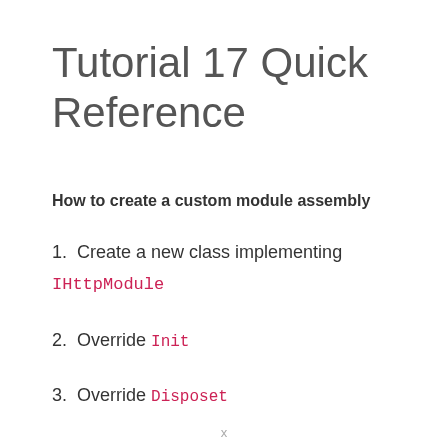Tutorial 17 Quick Reference
How to create a custom module assembly
1. Create a new class implementing IHttpModule
2. Override Init
3. Override Disposet
x